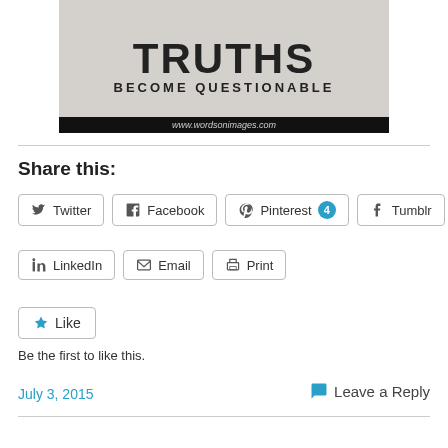[Figure (illustration): Motivational/quote image with large text 'TRUTHS BECOME QUESTIONABLE' on a grungy gray textured background, with www.wordsonimages.com watermark at bottom]
Share this:
Twitter  Facebook  Pinterest 4  Tumblr  LinkedIn  Email  Print
Like
Be the first to like this.
July 3, 2015
Leave a Reply